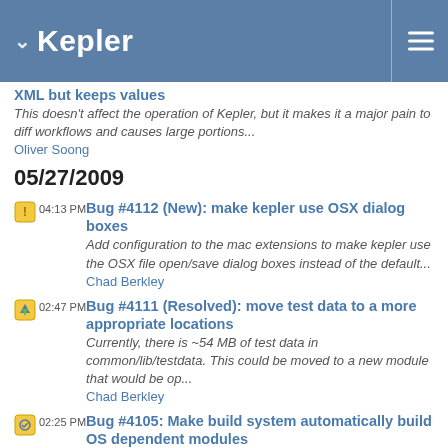Kepler
XML but keeps values
This doesn't affect the operation of Kepler, but it makes it a major pain to diff workflows and causes large portions...
Oliver Soong
05/27/2009
04:13 PM Bug #4112 (New): make kepler use OSX dialog boxes
Add configuration to the mac extensions to make kepler use the OSX file open/save dialog boxes instead of the default...
Chad Berkley
02:47 PM Bug #4111 (Resolved): move test data to a more appropriate locations
Currently, there is ~54 MB of test data in common/lib/testdata. This could be moved to a new module that would be op...
Chad Berkley
02:25 PM Bug #4105: Make build system automatically build OS dependent modules
The OS is just a special case of checking for a particular feature such as a third party library. The build system s...
Christopher Brooks
02:23 PM Bug #4104: Need resource manager to handle objects in the resources directories
Please be sure to review how the Java I18N stuff works...